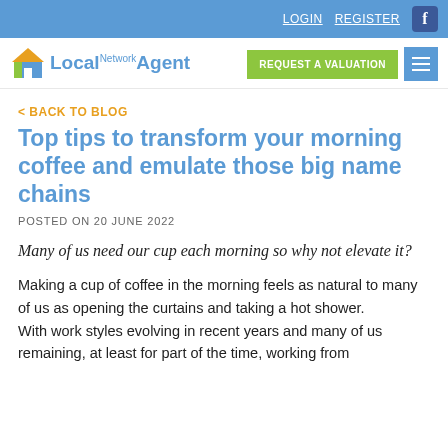LOGIN   REGISTER   [Facebook icon]
[Figure (logo): LocalAgent Network logo with house icon in orange/green/blue]
REQUEST A VALUATION
< BACK TO BLOG
Top tips to transform your morning coffee and emulate those big name chains
POSTED ON 20 JUNE 2022
Many of us need our cup each morning so why not elevate it?
Making a cup of coffee in the morning feels as natural to many of us as opening the curtains and taking a hot shower.
With work styles evolving in recent years and many of us remaining, at least for part of the time, working from